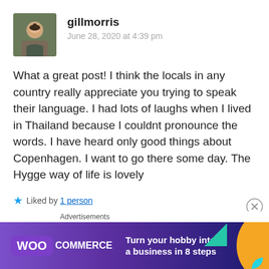[Figure (photo): Profile photo of gillmorris — a woman outdoors]
gillmorris
June 28, 2020 at 4:39 pm
What a great post! I think the locals in any country really appreciate you trying to speak their language. I had lots of laughs when I lived in Thailand because I couldnt pronounce the words. I have heard only good things about Copenhagen. I want to go there some day. The Hygge way of life is lovely
Liked by 1 person
Log in to Reply
Advertisements
[Figure (other): WooCommerce advertisement: Turn your hobby into a business in 8 steps]